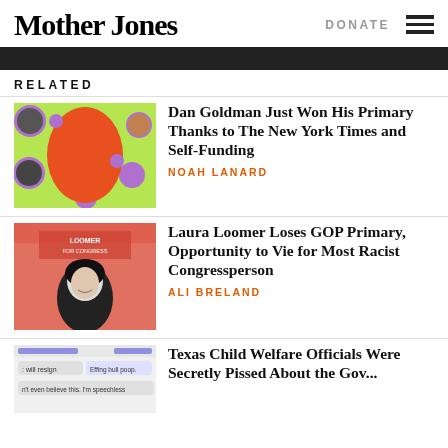Mother Jones | DONATE
RELATED
[Figure (illustration): Article thumbnail: Dan Goldman primary win illustration with orange halftone face on green background with purple circles and candidate portraits]
Dan Goldman Just Won His Primary Thanks to The New York Times and Self-Funding
NOAH LANARD
[Figure (photo): Article thumbnail: Laura Loomer black and white photo against red/orange background with Loomer for Congress signage]
Laura Loomer Loses GOP Primary, Opportunity to Vie for Most Racist Congressperson
ALI BRELAND
[Figure (screenshot): Article thumbnail: Screenshot of text message conversation with 'will resign', 'Effing bull poop.', 'can't even believe this. I'm speechless']
Texas Child Welfare Officials Were Secretly Pissed About the Gov...